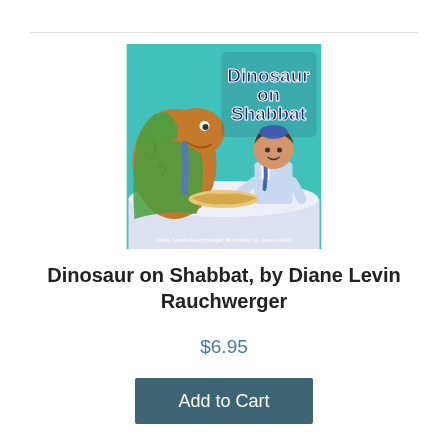[Figure (illustration): Book cover of 'Dinosaur on Shabbat' by Diane Levin Rauchwerger, illustrated by Jason Wolff. Shows a cartoon dinosaur and a boy at a table with a white tablecloth, set against a teal/blue background. The title 'Dinosaur on Shabbat' is displayed in large blue and white lettering at the top right of the cover.]
Dinosaur on Shabbat, by Diane Levin Rauchwerger
$6.95
Add to Cart